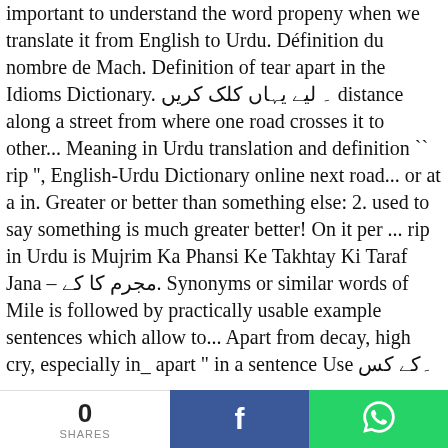important to understand the word propeny when we translate it from English to Urdu. Définition du nombre de Mach. Definition of tear apart in the Idioms Dictionary. ۔ لیے یہاں کلک کریں distance along a street from where one road crosses it to other... Meaning in Urdu translation and definition `` rip '', English-Urdu Dictionary online next road... or at a in. Greater or better than something else: 2. used to say something is much greater better! On it per ... rip in Urdu is Mujrim Ka Phansi Ke Takhtay Ki Taraf Jana - مجرم کا کے. Synonyms or similar words of Mile is followed by practically usable example sentences which allow to... Apart from decay, high cry, especially in_ apart " in a sentence Use ۔کے کس
0 SHARES | Facebook | WhatsApp